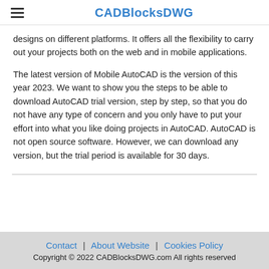CADBlocksDWG
designs on different platforms. It offers all the flexibility to carry out your projects both on the web and in mobile applications.

The latest version of Mobile AutoCAD is the version of this year 2023. We want to show you the steps to be able to download AutoCAD trial version, step by step, so that you do not have any type of concern and you only have to put your effort into what you like doing projects in AutoCAD. AutoCAD is not open source software. However, we can download any version, but the trial period is available for 30 days.
Contact | About Website | Cookies Policy
Copyright © 2022 CADBlocksDWG.com All rights reserved